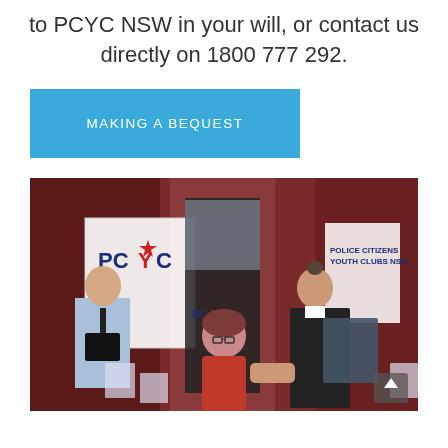to PCYC NSW in your will, or contact us directly on 1800 777 292.
MAKING A BEQUEST
[Figure (photo): A ceremony scene with three people: a uniformed officer holding a folder on the left, a woman in a red floral dress in the center smiling and shaking hands with a young man in a dark suit on the right. PCYC banners and posters are visible on a dark red wall in the background.]